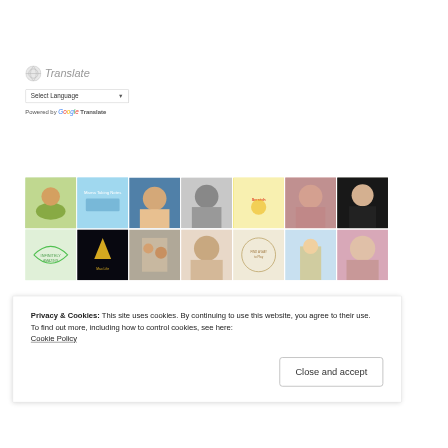[Figure (screenshot): Translate widget with globe icon, language selector dropdown, and 'Powered by Google Translate' text]
[Figure (photo): Grid of thumbnail profile pictures and blog avatars arranged in two rows]
Privacy & Cookies: This site uses cookies. By continuing to use this website, you agree to their use.
To find out more, including how to control cookies, see here:
Cookie Policy
Close and accept